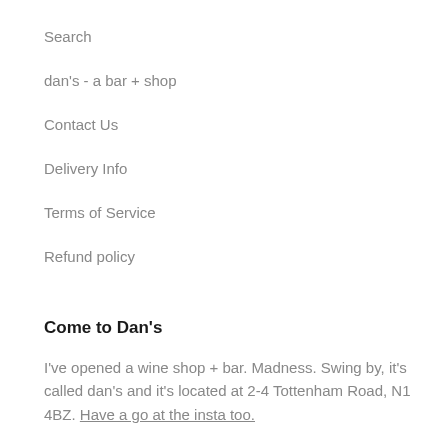Search
dan's - a bar + shop
Contact Us
Delivery Info
Terms of Service
Refund policy
Come to Dan's
I've opened a wine shop + bar. Madness. Swing by, it's called dan's and it's located at 2-4 Tottenham Road, N1 4BZ. Have a go at the insta too.